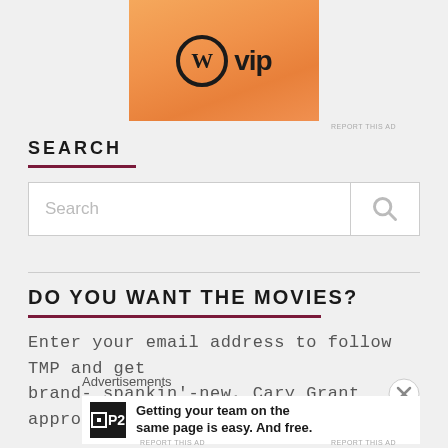[Figure (screenshot): WordPress VIP advertisement banner with orange gradient background showing the WordPress W logo circle and 'vip' text]
REPORT THIS AD
SEARCH
[Figure (screenshot): Search input box with placeholder text 'Search' and a magnifying glass icon button]
DO YOU WANT THE MOVIES?
Enter your email address to follow TMP and get brand- spankin'-new, Cary Grant approved* reviews and
Advertisements
Getting your team on the same page is easy. And free.
REPORT THIS AD